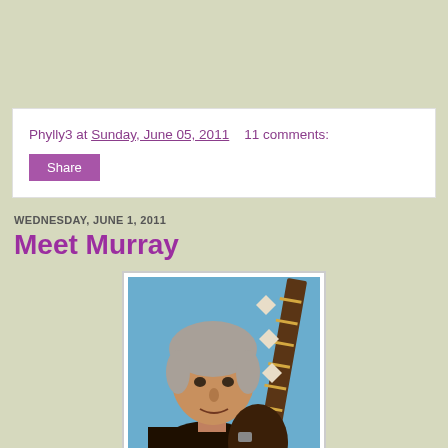Phylly3 at Sunday, June 05, 2011   11 comments:
Share
WEDNESDAY, JUNE 1, 2011
Meet Murray
[Figure (photo): A middle-aged man with light grey hair holding a guitar, smiling slightly, against a blue background]